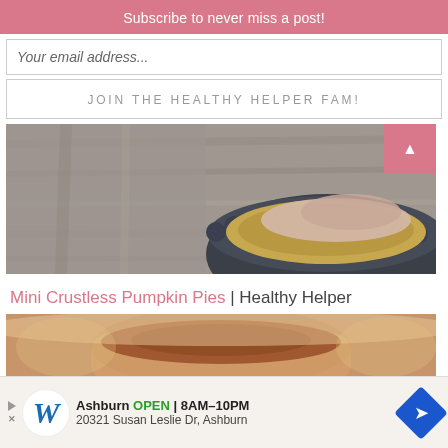Subscribe to never miss a post!
Your email address...
JOIN THE HEALTHY HELPER FAM!
[Figure (photo): Top-down view of a dark pie tin with a granola/oat crust and creamy filling on a rustic wooden background]
Mini Crustless Pumpkin Pies | Healthy Helper
[Figure (photo): Close-up of a mini pumpkin pie in a ramekin with spices on top, wooden background]
[Figure (other): Advertisement: Walgreens - Ashburn OPEN 8AM-10PM, 20321 Susan Leslie Dr, Ashburn]